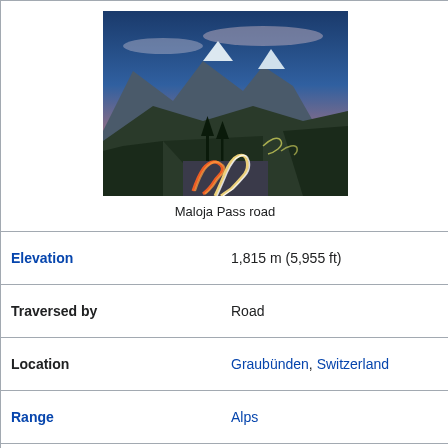[Figure (photo): Aerial view of Maloja Pass road with winding switchbacks lit by car light trails, surrounded by snow-covered mountains and pine forests at dusk/night with blue sky]
Maloja Pass road
| Elevation | 1,815 m (5,955 ft) |
| Traversed by | Road |
| Location | Graubünden, Switzerland |
| Range | Alps |
| Coordinates | 46°24′N 09°42′E |
[Figure (map): Topographic map showing the location of Maloja Pass in Switzerland/Graubünden region]